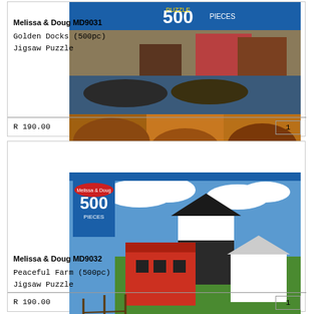Melissa & Doug MD9031
Golden Docks (500pc) Jigsaw Puzzle
[Figure (photo): Melissa & Doug MD9031 500-piece jigsaw puzzle box showing golden docks with boats and boats in water]
R 190.00
1
Melissa & Doug MD9032
Peaceful Farm (500pc) Jigsaw Puzzle
[Figure (photo): Melissa & Doug MD9032 500-piece jigsaw puzzle box showing a peaceful farm with red barn, green fields and blue sky]
R 190.00
1